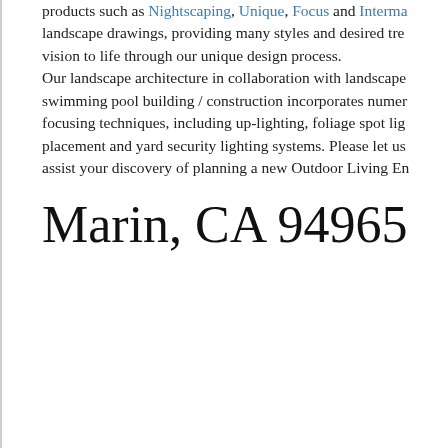products such as Nightscaping, Unique, Focus and Interma… landscape drawings, providing many styles and desired tre… vision to life through our unique design process. Our landscape architecture in collaboration with landscape… swimming pool building / construction incorporates numer… focusing techniques, including up-lighting, foliage spot lig… placement and yard security lighting systems. Please let us… assist your discovery of planning a new Outdoor Living En…
Marin, CA 94965